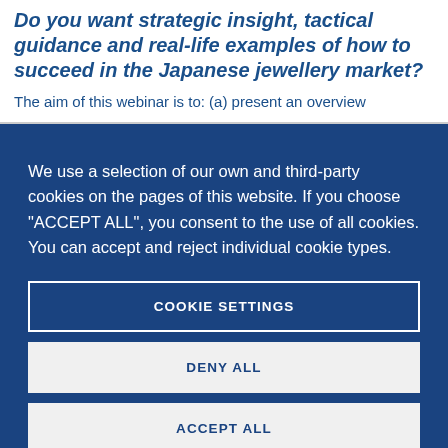Do you want strategic insight, tactical guidance and real-life examples of how to succeed in the Japanese jewellery market?
The aim of this webinar is to: (a) present an overview
We use a selection of our own and third-party cookies on the pages of this website. If you choose "ACCEPT ALL", you consent to the use of all cookies. You can accept and reject individual cookie types.
COOKIE SETTINGS
DENY ALL
ACCEPT ALL